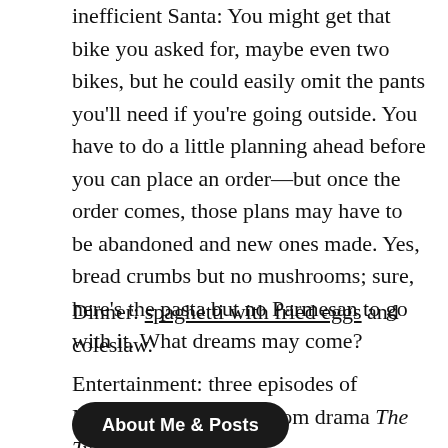inefficient Santa: You might get that bike you asked for, maybe even two bikes, but he could easily omit the pants you'll need if you're going outside. You have to do a little planning ahead before you can place an order—but once the order comes, those plans may have to be abandoned and new ones made. Yes, bread crumbs but no mushrooms; sure, here's the pasta but no Parmesan to go with it. What dreams may come?
Dinner: spaghetti with fried eggs and coleslaw.
Entertainment: three episodes of Netflix' Belgian courtroom drama The Twelve.